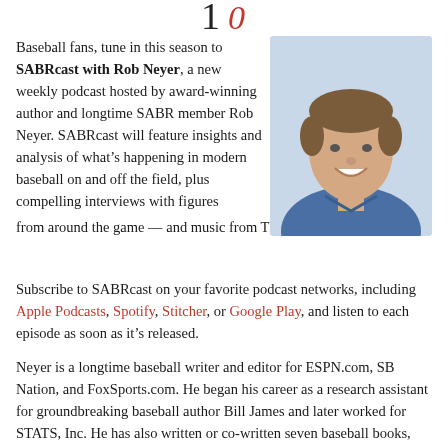1 0
Baseball fans, tune in this season to SABRcast with Rob Neyer, a new weekly podcast hosted by award-winning author and longtime SABR member Rob Neyer. SABRcast will feature insights and analysis of what’s happening in modern baseball on and off the field, plus compelling interviews with figures from around the game — and music from The Baseball Project.
[Figure (photo): Headshot of Rob Neyer, a man with brown hair wearing a blue patterned shirt, smiling]
Subscribe to SABRcast on your favorite podcast networks, including Apple Podcasts, Spotify, Stitcher, or Google Play, and listen to each episode as soon as it’s released.
Neyer is a longtime baseball writer and editor for ESPN.com, SB Nation, and FoxSports.com. He began his career as a research assistant for groundbreaking baseball author Bill James and later worked for STATS, Inc. He has also written or co-written seven baseball books, including The Neyer/James Guide to Pitchers